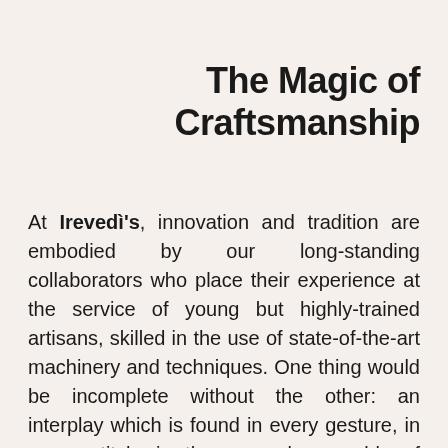The Magic of Craftsmanship
At Irevedì's, innovation and tradition are embodied by our long-standing collaborators who place their experience at the service of young but highly-trained artisans, skilled in the use of state-of-the-art machinery and techniques. One thing would be incomplete without the other: an interplay which is found in every gesture, in every stitch, in the manual assembly of every single part of our bags. Irevedì creates handmade bags, in the most contemporary meaning of the term, that is, a masterful blend of technique and know-how which mutually inspire